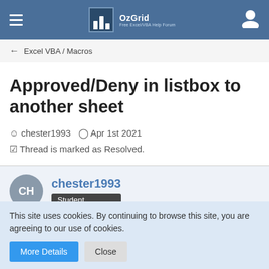OzGrid Free Excel/VBA Help Forum
← Excel VBA / Macros
Approved/Deny in listbox to another sheet
chester1993  ⊙ Apr 1st 2021
☑ Thread is marked as Resolved.
chester1993
Student
This site uses cookies. By continuing to browse this site, you are agreeing to our use of cookies.